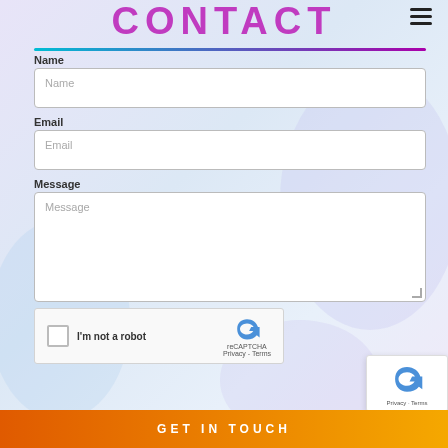CONTACT
Name
Name (placeholder)
Email
Email (placeholder)
Message
Message (placeholder)
[Figure (other): reCAPTCHA widget with checkbox labeled 'I'm not a robot' and reCAPTCHA logo with Privacy and Terms links]
GET IN TOUCH